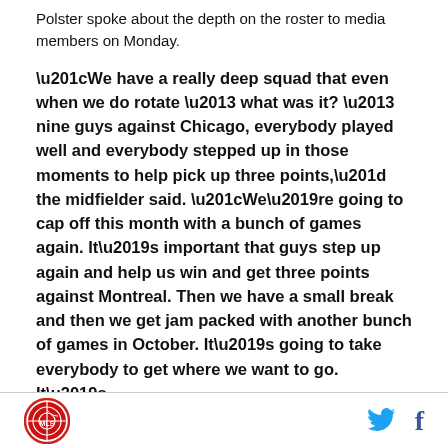Polster spoke about the depth on the roster to media members on Monday.
“We have a really deep squad that even when we do rotate – what was it? – nine guys against Chicago, everybody played well and everybody stepped up in those moments to help pick up three points,” the midfielder said. “We’re going to cap off this month with a bunch of games again. It’s important that guys step up again and help us win and get three points against Montreal. Then we have a small break and then we get jam packed with another bunch of games in October. It’s going to take everybody to get where we want to go. It’s
[logo] [twitter] [facebook]